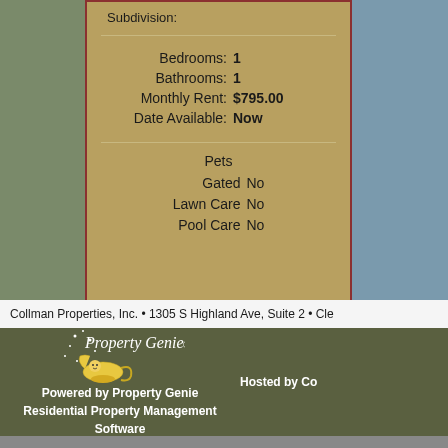Subdivision:
Bedrooms: 1
Bathrooms: 1
Monthly Rent: $795.00
Date Available: Now
Pets
Gated  No
Lawn Care  No
Pool Care  No
Collman Properties, Inc. • 1305 S Highland Ave, Suite 2 • Cle
Powered by Property Genie
Residential Property Management Software
Hosted by Co